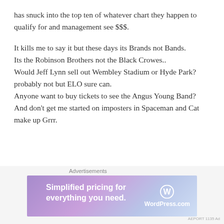has snuck into the top ten of whatever chart they happen to qualify for and management see $$$.
It kills me to say it but these days its Brands not Bands.
Its the Robinson Brothers not the Black Crowes..
Would Jeff Lynn sell out Wembley Stadium or Hyde Park? probably not but ELO sure can.
Anyone want to buy tickets to see the Angus Young Band?
And don't get me started on imposters in Spaceman and Cat make up Grrr.
…and breathe. So rant over.
[Figure (screenshot): WordPress.com advertisement banner with text 'Simplified pricing for everything you need.' and WordPress.com logo]